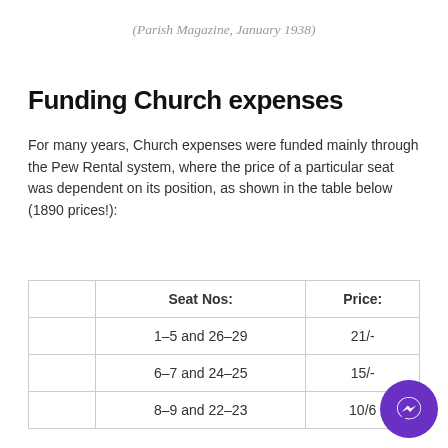(Parish Magazine, January 1938)
Funding Church expenses
For many years, Church expenses were funded mainly through the Pew Rental system, where the price of a particular seat was dependent on its position, as shown in the table below (1890 prices!):
|  | Seat Nos: | Price: |
| --- | --- | --- |
|  | 1–5 and 26–29 | 21/- |
|  | 6–7 and 24–25 | 15/- |
|  | 8–9 and 22–23 | 10/6 |